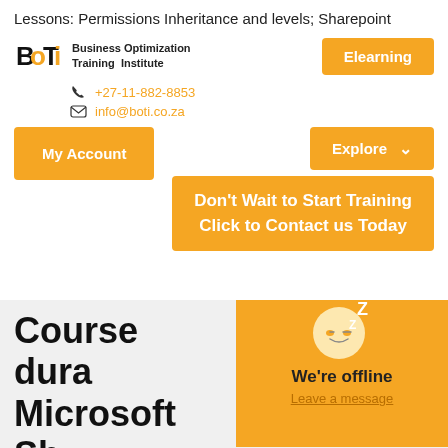Lessons: Permissions Inheritance and levels; Sharepoint
[Figure (logo): Business Optimization Training Institute (BOTI) logo with stylized text]
Elearning
+27-11-882-8853
info@boti.co.za
My Account
Explore
Don't Wait to Start Training
Click to Contact us Today
Course duration Microsoft SharePoint End User Level Course
We're offline
Leave a message